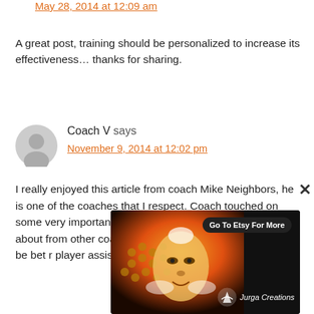May 28, 2014 at 12:09 am
A great post, training should be personalized to increase its effectiveness… thanks for sharing.
Coach V says
November 9, 2014 at 12:02 pm
I really enjoyed this article from coach Mike Neighbors, he is one of the coaches that I respect. Coach touched on some very important things that I have been concerned about from other coaches for some time now. We have to be bet[...] r player[...] assist[...]
[Figure (illustration): Advertisement overlay showing colorful artwork with a face and honeycomb pattern. Contains 'Go To Etsy For More' button and 'Jurga Creations' logo. Close button (X) visible.]